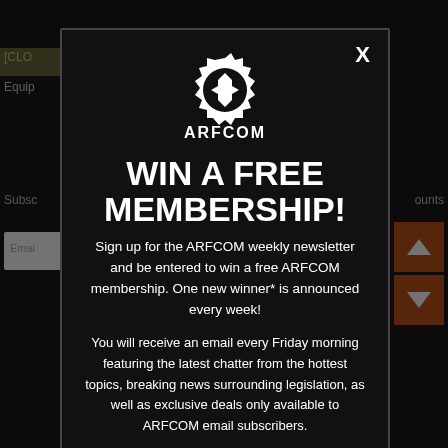[Figure (screenshot): ARFCOM website modal popup overlay. Background shows dark website with partial navigation elements. Modal has dark background with ARFCOM gear logo, headline 'WIN A FREE MEMBERSHIP!', descriptive text about weekly newsletter, and email input field at bottom.]
WIN A FREE MEMBERSHIP!
Sign up for the ARFCOM weekly newsletter and be entered to win a free ARFCOM membership. One new winner* is announced every week!
You will receive an email every Friday morning featuring the latest chatter from the hottest topics, breaking news surrounding legislation, as well as exclusive deals only available to ARFCOM email subscribers.